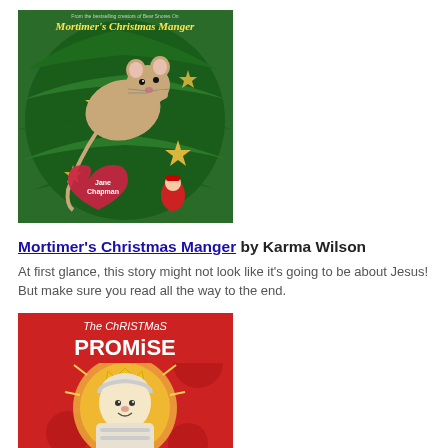[Figure (illustration): Book cover of 'Mortimer's Christmas Manger' by Karma Wilson - shows a mouse climbing in a Christmas tree with stars and ornaments on a green background]
Mortimer's Christmas Manger by Karma Wilson
At first glance, this story might not look like it's going to be about Jesus! But make sure you read all the way to the end.
[Figure (illustration): Book cover of 'The Christmas Promise' - shows a stylized illustration of baby Jesus with a halo/crown on a red background with white text]